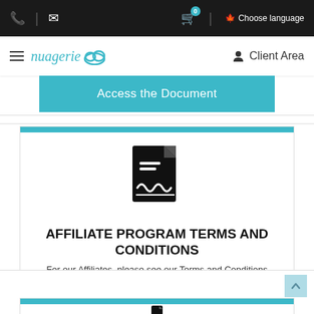nuagerie — Choose language | Client Area
Access the Document
[Figure (illustration): Black document/contract icon with signature line]
AFFILIATE PROGRAM TERMS AND CONDITIONS
For our Affiliates, please see our Terms and Conditions
Access the Document